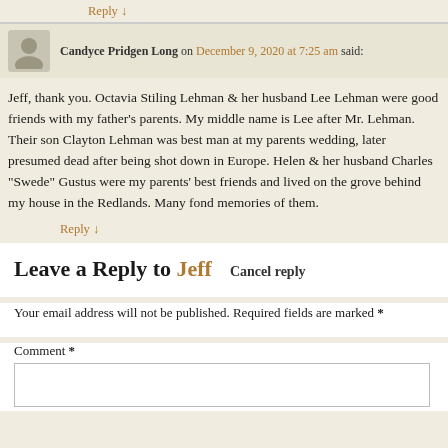Reply ↓
Candyce Pridgen Long on December 9, 2020 at 7:25 am said:
Jeff, thank you. Octavia Stiling Lehman & her husband Lee Lehman were good friends with my father's parents. My middle name is Lee after Mr. Lehman. Their son Clayton Lehman was best man at my parents wedding, later presumed dead after being shot down in Europe. Helen & her husband Charles "Swede" Gustus were my parents' best friends and lived on the grove behind my house in the Redlands. Many fond memories of them.
Reply ↓
Leave a Reply to Jeff  Cancel reply
Your email address will not be published. Required fields are marked *
Comment *